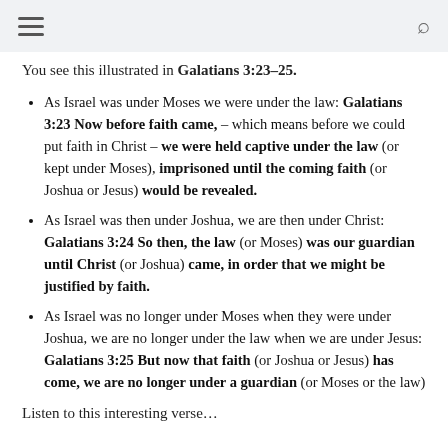≡  🔍
You see this illustrated in Galatians 3:23–25.
As Israel was under Moses we were under the law: Galatians 3:23 Now before faith came, – which means before we could put faith in Christ – we were held captive under the law (or kept under Moses), imprisoned until the coming faith (or Joshua or Jesus) would be revealed.
As Israel was then under Joshua, we are then under Christ: Galatians 3:24 So then, the law (or Moses) was our guardian until Christ (or Joshua) came, in order that we might be justified by faith.
As Israel was no longer under Moses when they were under Joshua, we are no longer under the law when we are under Jesus: Galatians 3:25 But now that faith (or Joshua or Jesus) has come, we are no longer under a guardian (or Moses or the law)
Listen to this interesting verse…